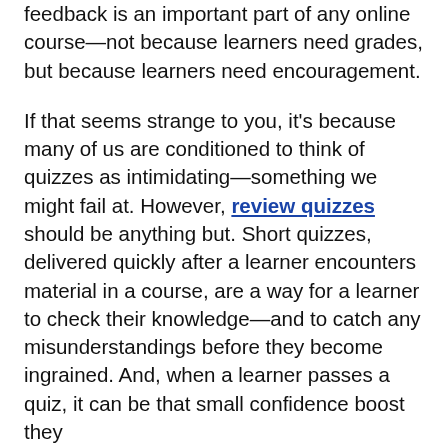the by way of micro-quizzes and other feedback is an important part of any online course—not because learners need grades, but because learners need encouragement.
If that seems strange to you, it's because many of us are conditioned to think of quizzes as intimidating—something we might fail at. However, review quizzes should be anything but. Short quizzes, delivered quickly after a learner encounters material in a course, are a way for a learner to check their knowledge—and to catch any misunderstandings before they become ingrained. And, when a learner passes a quiz, it can be that small confidence boost they